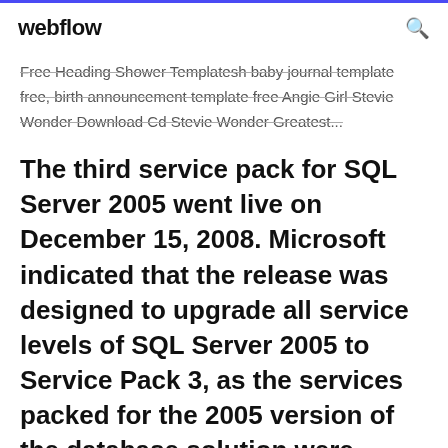webflow
Free Heading Shower Templatesh baby journal template free, birth announcement template free Angie Girl Stevie Wonder Download Cd Stevie Wonder Greatest...
The third service pack for SQL Server 2005 went live on December 15, 2008. Microsoft indicated that the release was designed to upgrade all service levels of SQL Server 2005 to Service Pack 3, as the services packed for the 2005 version of the database solution were